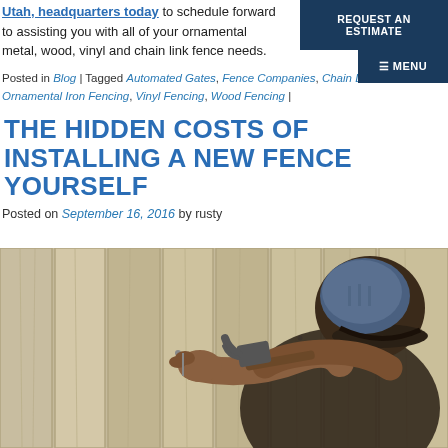Utah, headquarters today to schedule forward to assisting you with all of your ornamental metal, wood, vinyl and chain link fence needs.
Posted in Blog | Tagged Automated Gates, Fence Companies, Chain Link, Ornamental Iron Fencing, Vinyl Fencing, Wood Fencing |
THE HIDDEN COSTS OF INSTALLING A NEW FENCE YOURSELF
Posted on September 16, 2016 by rusty
[Figure (photo): Man from behind, wearing a cap, hammering a nail into a wooden fence with a claw hammer, close-up view]